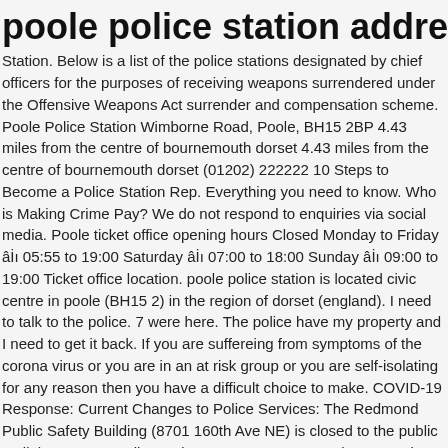poole police station address
Station. Below is a list of the police stations designated by chief officers for the purposes of receiving weapons surrendered under the Offensive Weapons Act surrender and compensation scheme. Poole Police Station Wimborne Road, Poole, BH15 2BP 4.43 miles from the centre of bournemouth dorset 4.43 miles from the centre of bournemouth dorset (01202) 222222 10 Steps to Become a Police Station Rep. Everything you need to know. Who is Making Crime Pay? We do not respond to enquiries via social media. Poole ticket office opening hours Closed Monday to Friday â 05:55 to 19:00 Saturday â 07:00 to 18:00 Sunday â 09:00 to 19:00 Ticket office location. poole police station is located civic centre in poole (BH15 2) in the region of dorset (england). I need to talk to the police. 7 were here. The police have my property and I need to get it back. If you are suffereing from symptoms of the corona virus or you are in an at risk group or you are self-isolating for any reason then you have a difficult choice to make. COVID-19 Response: Current Changes to Police Services: The Redmond Public Safety Building (8701 160th Ave NE) is closed to the public until the Governor allows King County to move to Phase 3. Joint Emergency Services Building, Wimborne Road, Poole BH15 2BP. If you are struggling with this question please call your solicitor. Apologies for any inconvenience